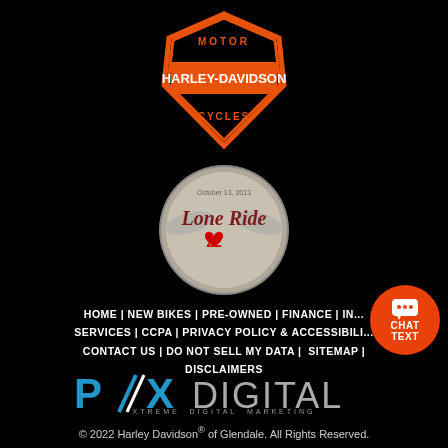[Figure (logo): Harley-Davidson Motor Cycles shield logo with orange border and orange/white text]
[Figure (logo): Love Ride 22 circular event logo on gray circle background]
[Figure (illustration): Orange circular chat/text button with speech bubble icon, CHAT TEXT label]
HOME | NEW BIKES | PRE-OWNED | FINANCE | IN... SERVICES | CCPA | PRIVACY POLICY & ACCESSIBILI... CONTACT US | DO NOT SELL MY DATA | SITEMAP | DISCLAIMERS
[Figure (logo): PXX Digital - Xtreme Digital Marketing logo with blue and gray lettering and lightning bolt]
© 2022 Harley Davidson® of Glendale. All Rights Reserved.